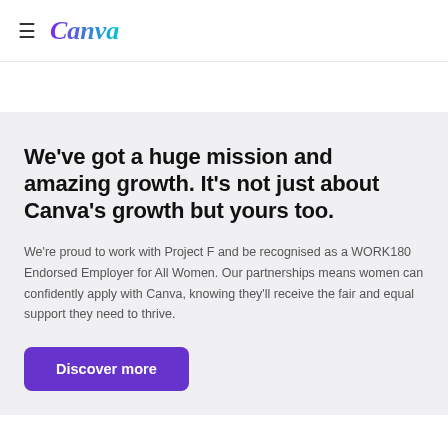≡ Canva
We've got a huge mission and amazing growth. It's not just about Canva's growth but yours too.
We're proud to work with Project F and be recognised as a WORK180 Endorsed Employer for All Women. Our partnerships means women can confidently apply with Canva, knowing they'll receive the fair and equal support they need to thrive.
Discover more